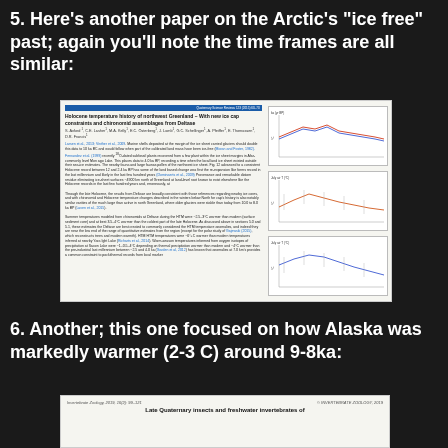5.  Here's another paper on the Arctic's "ice free" past; again you'll note the time frames are all similar:
[Figure (screenshot): Screenshot of an academic paper: 'Holocene temperature history of northwest Greenland – With new ice cap constraints and chironomid assemblages from Deltase' with authors and body text on left and scientific charts/graphs on the right showing temperature anomaly data.]
6.  Another; this one focused on how Alaska was markedly warmer (2-3 C) around 9-8ka:
[Figure (screenshot): Screenshot of an academic paper: 'Late Quaternary insects and freshwater invertebrates of ...' from Invertebrate Zoology journal]